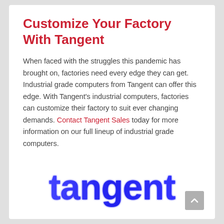Customize Your Factory With Tangent
When faced with the struggles this pandemic has brought on, factories need every edge they can get. Industrial grade computers from Tangent can offer this edge. With Tangent's industrial computers, factories can customize their factory to suit ever changing demands. Contact Tangent Sales today for more information on our full lineup of industrial grade computers.
[Figure (logo): Tangent logo in blue gradient text]